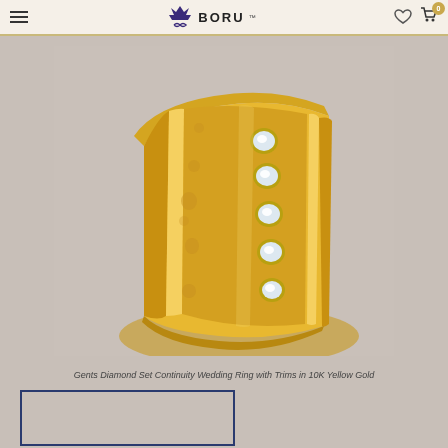BORU jewelry website navigation header with menu, logo, wishlist and cart icons
[Figure (photo): Close-up photo of a Gents Diamond Set Continuity Wedding Ring with Trims in 10K Yellow Gold — a wide yellow gold band showing channel-set round diamonds along the front, with ridged trim edges, photographed against a grey background.]
Gents Diamond Set Continuity Wedding Ring with Trims in 10K Yellow Gold
[Figure (photo): Thumbnail image placeholder for a secondary product view, outlined in dark blue border.]